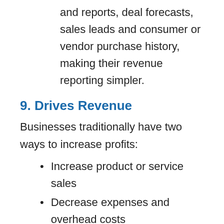and reports, deal forecasts, sales leads and consumer or vendor purchase history, making their revenue reporting simpler.
9. Drives Revenue
Businesses traditionally have two ways to increase profits:
Increase product or service sales
Decrease expenses and overhead costs
CRM software unlocks solutions for both the...